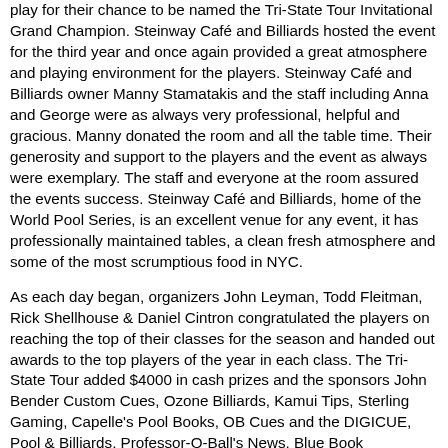play for their chance to be named the Tri-State Tour Invitational Grand Champion. Steinway Café and Billiards hosted the event for the third year and once again provided a great atmosphere and playing environment for the players. Steinway Café and Billiards owner Manny Stamatakis and the staff including Anna and George were as always very professional, helpful and gracious. Manny donated the room and all the table time. Their generosity and support to the players and the event as always were exemplary. The staff and everyone at the room assured the events success. Steinway Café and Billiards, home of the World Pool Series, is an excellent venue for any event, it has professionally maintained tables, a clean fresh atmosphere and some of the most scrumptious food in NYC.
As each day began, organizers John Leyman, Todd Fleitman, Rick Shellhouse & Daniel Cintron congratulated the players on reaching the top of their classes for the season and handed out awards to the top players of the year in each class. The Tri-State Tour added $4000 in cash prizes and the sponsors John Bender Custom Cues, Ozone Billiards, Kamui Tips, Sterling Gaming, Capelle's Pool Books, OB Cues and the DIGICUE, Pool & Billiards, Professor-Q-Ball's News, Blue Book Publications, Steinway Café and Billiards, Amsterdam Billiards, and Romer's Trophies went out of their way to provide the event with excellent equipment and prizes. The sponsors as the Tri-State has always maintained are owed a debt a gratitude for their dedication to the game and the players, their efforts and generosity are what always make the event so special and such a great success and without their continued support of the sport and the players this